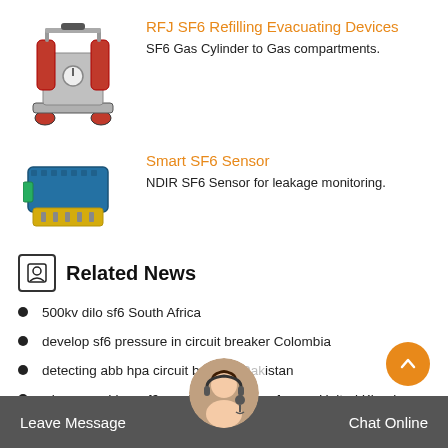[Figure (photo): RFJ SF6 Refilling Evacuating Device - red and grey industrial equipment on wheels]
RFJ SF6 Refilling Evacuating Devices
SF6 Gas Cylinder to Gas compartments.
[Figure (photo): Smart SF6 Sensor - blue rectangular electronic sensor device with yellow connector base]
Smart SF6 Sensor
NDIR SF6 Sensor for leakage monitoring.
Related News
500kv dilo sf6 South Africa
develop sf6 pressure in circuit breaker Colombia
detecting abb hpa circuit breaker Pakistan
where can I buy sf6 gas insulated transformer United Kingdom
Leave Message   Chat Online